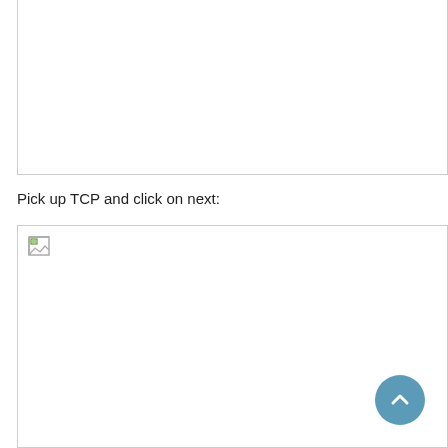[Figure (screenshot): Top white box with light gray border, partially visible, appears to be a screenshot area]
Pick up TCP and click on next:
[Figure (screenshot): Bottom white box with light gray border containing a broken image icon in top-left corner and a scroll-to-top button (circle with upward chevron) in the bottom-right]